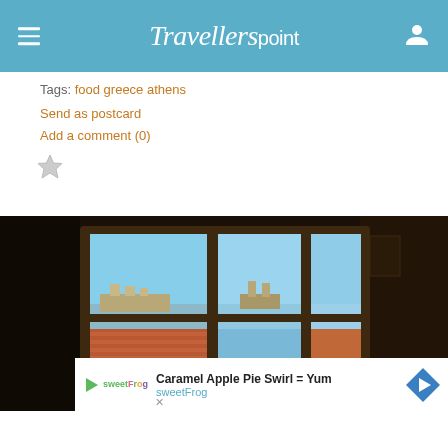Travellerspoint
Tags: food greece athens
Send as postcard
Add a comment (0)
[Figure (photo): View from inside a restaurant or cafe through large dark-framed windows showing rooftops with terracotta tiles and ancient ruins/Acropolis in the background under a blue sky. Interior is dimly lit.]
[Figure (other): Advertisement banner for sweetFrog: 'Caramel Apple Pie Swirl = Yum' with sweetFrog logo and navigation arrow icon]